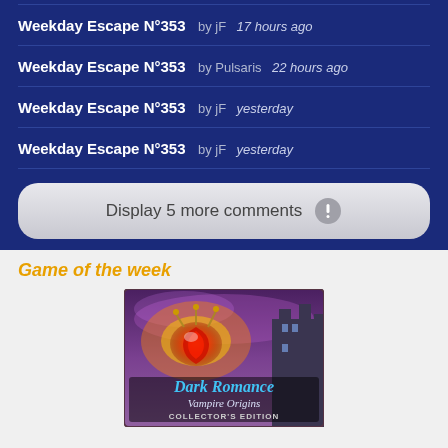Weekday Escape N°353  by jF  17 hours ago
Weekday Escape N°353  by Pulsaris  22 hours ago
Weekday Escape N°353  by jF  yesterday
Weekday Escape N°353  by jF  yesterday
Display 5 more comments
Game of the week
[Figure (illustration): Game cover art for Dark Romance: Vampire Origins Collector's Edition, showing a glowing red gem/heart with dark fantasy castle background]